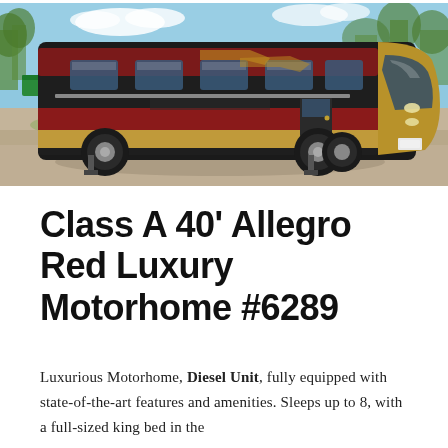[Figure (photo): Photograph of a large Class A motorhome (Allegro Red) parked on a gravel/shell surface outdoors, with trees and sky visible in the background. The RV is dark with burgundy/maroon and gold accents.]
Class A 40' Allegro Red Luxury Motorhome #6289
Luxurious Motorhome, Diesel Unit, fully equipped with state-of-the-art features and amenities. Sleeps up to 8, with a full-sized king bed in the